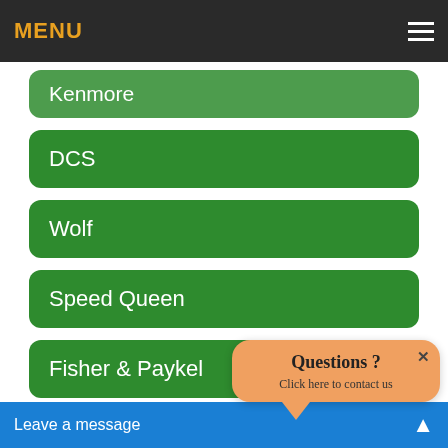MENU
Kenmore
DCS
Wolf
Speed Queen
Fisher & Paykel
Sub-Zero
Scotsman
[Figure (infographic): Popup chat bubble with orange background reading 'Questions ? Click here to contact us' with a close (x) button]
Leave a message